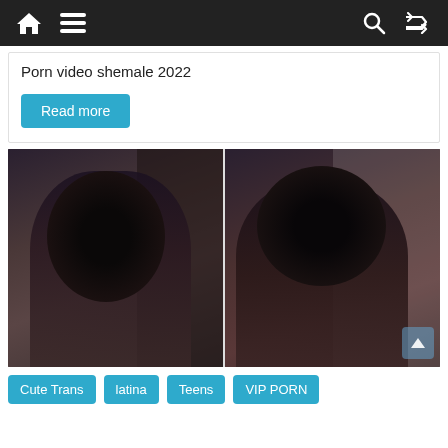Navigation bar with home, menu, search, and shuffle icons
Porn video shemale 2022
Read more
[Figure (photo): Two side-by-side video thumbnail images of a trans latina woman in a black mesh outfit]
Cute Trans  latina  Teens  VIP PORN